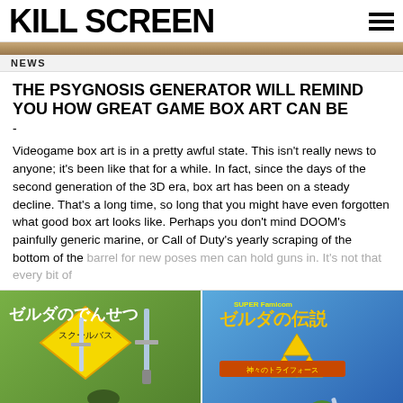KILL SCREEN
NEWS
THE PSYGNOSIS GENERATOR WILL REMIND YOU HOW GREAT GAME BOX ART CAN BE
-
Videogame box art is in a pretty awful state. This isn't really news to anyone; it's been like that for a while. In fact, since the days of the second generation of the 3D era, box art has been on a steady decline. That's a long time, so long that you might have even forgotten what good box art looks like. Perhaps you don't mind DOOM's painfully generic marine, or Call of Duty's yearly scraping of the bottom of the barrel for new poses men can hold guns in. It's not that every bit of
[Figure (photo): Two Japanese video game box art covers side by side: left shows a Zelda-themed Japanese game with anime-style character and yellow warning sign with Japanese text; right shows Super Famicom Zelda no Densetsu with Link character and gold Triforce triangles]